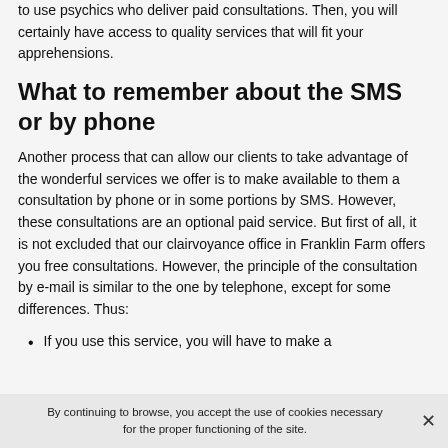to use psychics who deliver paid consultations. Then, you will certainly have access to quality services that will fit your apprehensions.
What to remember about the SMS or by phone
Another process that can allow our clients to take advantage of the wonderful services we offer is to make available to them a consultation by phone or in some portions by SMS. However, these consultations are an optional paid service. But first of all, it is not excluded that our clairvoyance office in Franklin Farm offers you free consultations. However, the principle of the consultation by e-mail is similar to the one by telephone, except for some differences. Thus:
If you use this service, you will have to make a
By continuing to browse, you accept the use of cookies necessary for the proper functioning of the site.